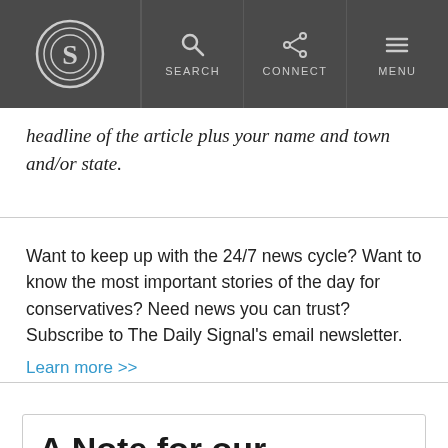The Daily Signal — Navigation bar with logo, SEARCH, CONNECT, MENU
headline of the article plus your name and town and/or state.
Want to keep up with the 24/7 news cycle? Want to know the most important stories of the day for conservatives? Need news you can trust? Subscribe to The Daily Signal's email newsletter. Learn more >>
A Note for our Readers: